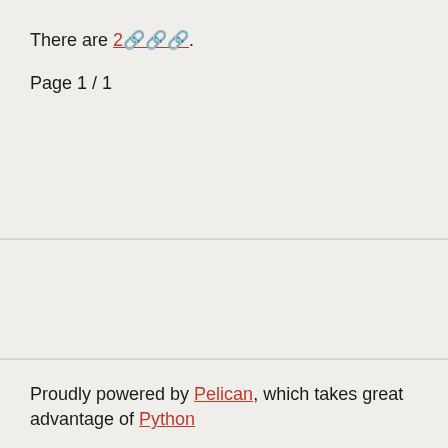There are 2🔗.
Page 1 / 1
Proudly powered by Pelican, which takes great advantage of Python